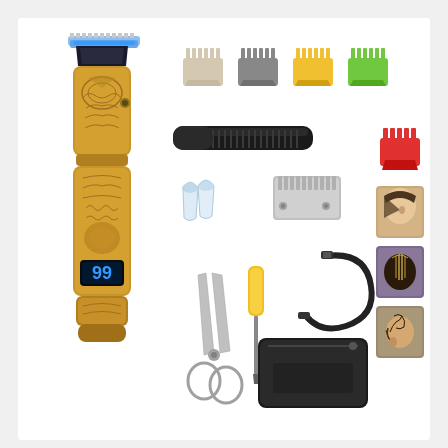[Figure (photo): Product photo of a gold ornate electric hair trimmer/clipper kit showing the main device with decorative dragon/floral engraving and LED display showing '99', accompanied by accessories: 5 colored guide combs (white, gray, yellow, green, red), a black folding comb, a replacement blade, two clear ear/guard pieces, scissors, a yellow screwdriver, a USB charging cable, a black storage pouch, and three photos of men's haircut styles demonstrating the trimmer's use.]